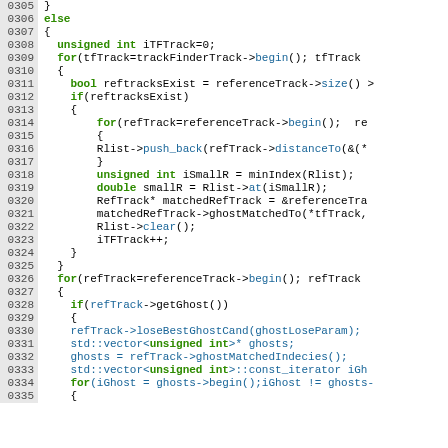[Figure (screenshot): Source code listing (C++) with line numbers 0305-0335, showing code for track matching with ghost handling logic. Keywords in green bold, method calls and identifiers in blue, other code in black.]